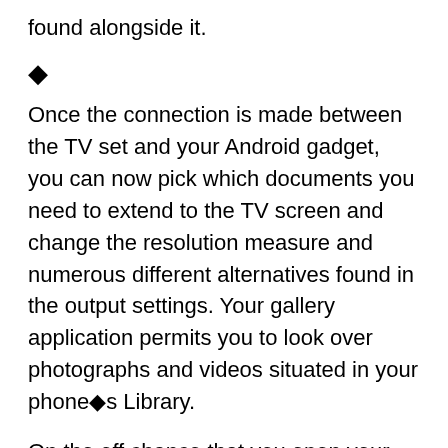found alongside it.
◆
Once the connection is made between the TV set and your Android gadget, you can now pick which documents you need to extend to the TV screen and change the resolution measure and numerous different alternatives found in the output settings. Your gallery application permits you to look over photographs and videos situated in your phone◆s Library.
On the off chance that you open your music application, you can tune into whichever artist, collection, or playlist you like. You◆ll have the